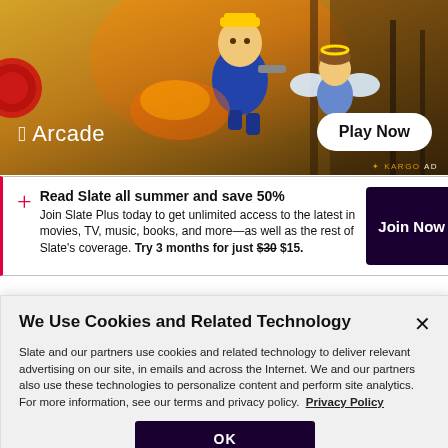[Figure (illustration): Apple Arcade advertisement banner with cartoon game characters (a police officer and an angel character) running. Shows 'Apple Arcade' logo on left and 'Play Now' button on right. KARGO AD badge at bottom right.]
Read Slate all summer and save 50%
Join Slate Plus today to get unlimited access to the latest in movies, TV, music, books, and more—as well as the rest of Slate's coverage. Try 3 months for just $30 $15.
Join Now
We Use Cookies and Related Technology
Slate and our partners use cookies and related technology to deliver relevant advertising on our site, in emails and across the Internet. We and our partners also use these technologies to personalize content and perform site analytics. For more information, see our terms and privacy policy. Privacy Policy
OK